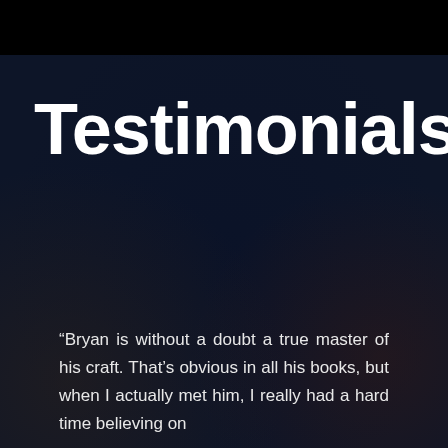Testimonials
“Bryan is without a doubt a true master of his craft. That’s obvious in all his books, but when I actually met him, I really had a hard time believing on